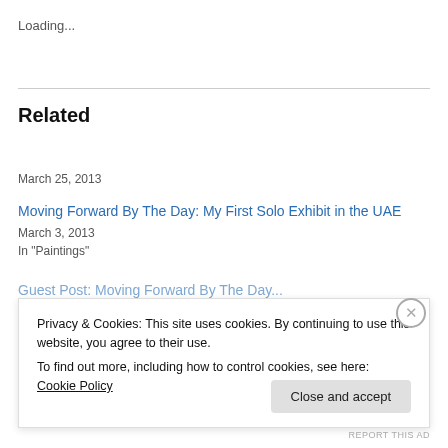Loading...
Related
The Opening Night at Meem Gallery, Dubai
March 25, 2013
Moving Forward By The Day: My First Solo Exhibit in the UAE
March 3, 2013
In "Paintings"
Privacy & Cookies: This site uses cookies. By continuing to use this website, you agree to their use.
To find out more, including how to control cookies, see here: Cookie Policy
Close and accept